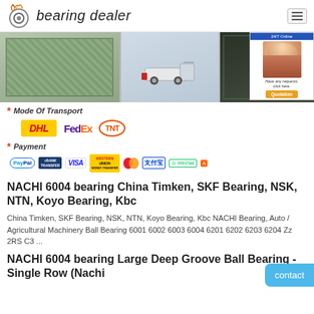bearing dealer
[Figure (photo): Banner showing packaged bearings, a truck/transport vehicle, and stacked bearing packages with ST label. Mode of transport section showing DHL, FedEx, TNT logos. Payment section showing PayPal, Bank Transfer, VISA, Western Union, Mastercard, Alipay, WeChat, Ali payment logos.]
NACHI 6004 bearing China Timken, SKF Bearing, NSK, NTN, Koyo Bearing, Kbc
China Timken, SKF Bearing, NSK, NTN, Koyo Bearing, Kbc NACHI Bearing, Auto / Agricultural Machinery Ball Bearing 6001 6002 6003 6004 6201 6202 6203 6204 Zz 2RS C3 ...
NACHI 6004 bearing Large Deep Groove Ball Bearing - Single Row (Nachi